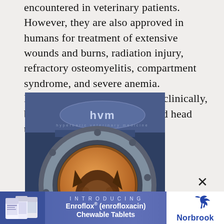encountered in veterinary patients. However, they are also approved in humans for treatment of extensive wounds and burns, radiation injury, refractory osteomyelitis, compartment syndrome, and severe anemia. Hyperbaric chambers are used clinically, but not approved, for spinal and head trauma and stroke.
[Figure (photo): A dog looking through the circular porthole window of a hyperbaric oxygen chamber branded 'hvm'. The chamber is gray/blue metallic with multiple bolts around the circular opening. The dog appears to be a German Shepherd or similar breed.]
[Figure (infographic): Advertisement banner for Enroflox (enrofloxacin) Chewable Tablets by Norbrook. Shows pill bottles on left, text 'INTRODUCING Enroflox (enrofloxacin) Chewable Tablets' in center, Norbrook logo with leaping dog on right.]